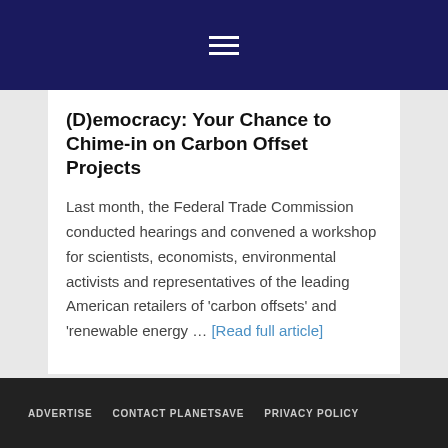☰
(D)emocracy: Your Chance to Chime-in on Carbon Offset Projects
Last month, the Federal Trade Commission conducted hearings and convened a workshop for scientists, economists, environmental activists and representatives of the leading American retailers of 'carbon offsets' and 'renewable energy … [Read full article]
ADVERTISE   CONTACT PLANETSAVE   PRIVACY POLICY